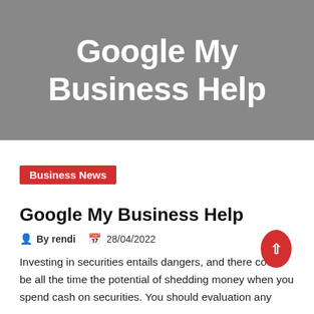Google My Business Help
Business News
Google My Business Help
By rendi   28/04/2022
Investing in securities entails dangers, and there could be all the time the potential of shedding money when you spend cash on securities. You should evaluation any